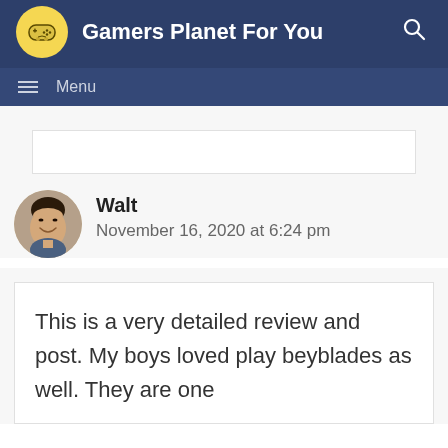Gamers Planet For You
Walt
November 16, 2020 at 6:24 pm
This is a very detailed review and post. My boys loved play beyblades as well. They are one